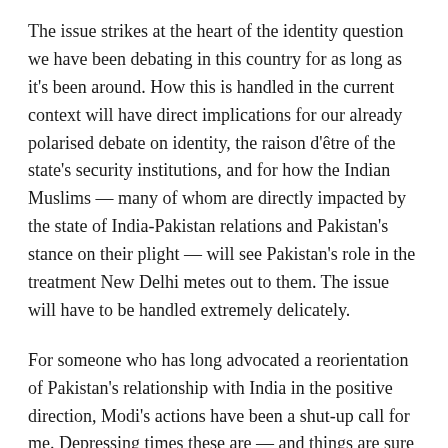The issue strikes at the heart of the identity question we have been debating in this country for as long as it's been around. How this is handled in the current context will have direct implications for our already polarised debate on identity, the raison d'être of the state's security institutions, and for how the Indian Muslims — many of whom are directly impacted by the state of India-Pakistan relations and Pakistan's stance on their plight — will see Pakistan's role in the treatment New Delhi metes out to them. The issue will have to be handled extremely delicately.
For someone who has long advocated a reorientation of Pakistan's relationship with India in the positive direction, Modi's actions have been a shut-up call for me. Depressing times these are — and things are sure to get worse as Modi persists in targeting minorities, and destroying India's social fabric in the process.